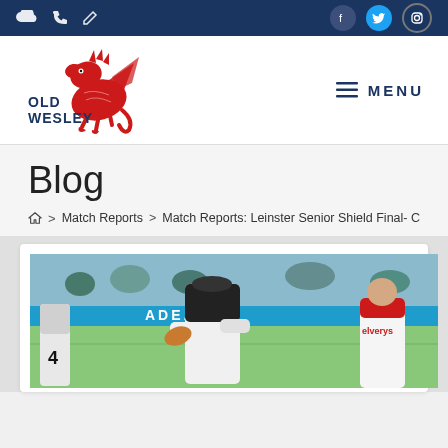Old Wesley Rugby Club website header with navigation icons and social media links
[Figure (logo): Old Wesley RFC logo: red dragon with OLD WESLEY text in dark blue]
Blog
Home > Match Reports > Match Reports: Leinster Senior Shield Final- C
[Figure (photo): Rugby match photo showing players on field with advertising hoardings in background, one player wearing number 4 jersey, another in Old Wesley colours with Elverys sponsor]